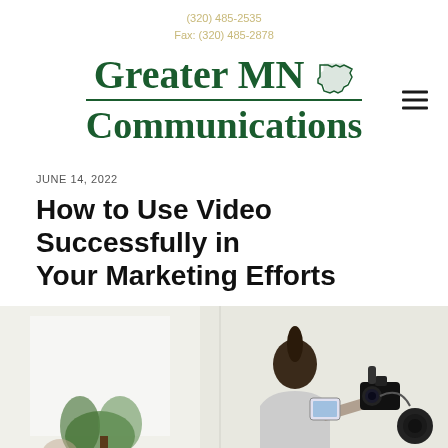(320) 485-2535
Fax: (320) 485-2878
[Figure (logo): Greater MN Communications logo with Minnesota state outline and hamburger menu icon]
JUNE 14, 2022
How to Use Video Successfully in Your Marketing Efforts
[Figure (photo): Person holding a camera with microphone and equipment filming content, seen from behind, with a plant and bright room in background]